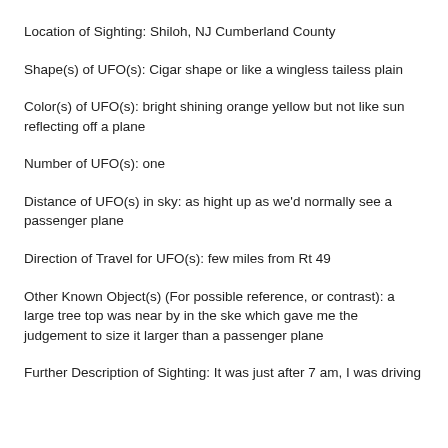Location of Sighting: Shiloh, NJ Cumberland County
Shape(s) of UFO(s): Cigar shape or like a wingless tailess plain
Color(s) of UFO(s): bright shining orange yellow but not like sun reflecting off a plane
Number of UFO(s): one
Distance of UFO(s) in sky: as hight up as we'd normally see a passenger plane
Direction of Travel for UFO(s): few miles from Rt 49
Other Known Object(s) (For possible reference, or contrast): a large tree top was near by in the ske which gave me the judgement to size it larger than a passenger plane
Further Description of Sighting: It was just after 7 am, I was driving